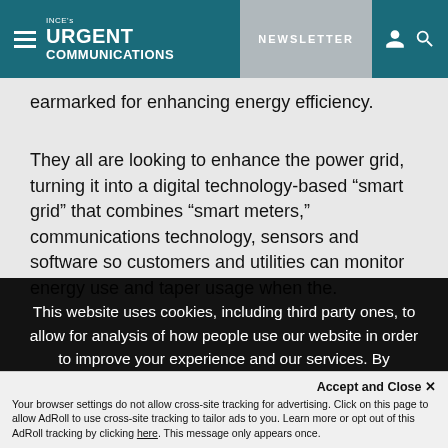INCE's URGENT COMMUNICATIONS | NEWSLETTER
earmarked for enhancing energy efficiency.
They all are looking to enhance the power grid, turning it into a digital technology-based “smart grid” that combines “smart meters,” communications technology, sensors and software so customers and utilities can monitor energy use and taper usage when the.
This website uses cookies, including third party ones, to allow for analysis of how people use our website in order to improve your experience and our services. By continuing to use our website, you agree to the use of such cookies. Click here for more information on our Cookie Policy and Privacy Policy
Accept and Close ×
Your browser settings do not allow cross-site tracking for advertising. Click on this page to allow AdRoll to use cross-site tracking to tailor ads to you. Learn more or opt out of this AdRoll tracking by clicking here. This message only appears once.